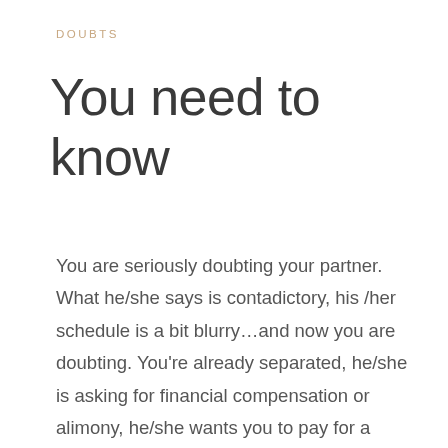DOUBTS
You need to know
You are seriously doubting your partner. What he/she says is contadictory, his /her schedule is a bit blurry…and now you are doubting. You're already separated, he/she is asking for financial compensation or alimony, he/she wants you to pay for a residence, there he/she no longer lives…